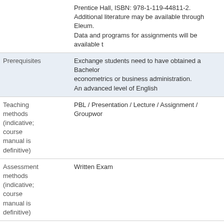| Field | Value |
| --- | --- |
|  | Prentice Hall, ISBN: 978-1-119-44811-2.
Additional literature may be available through Eleum.
Data and programs for assignments will be available t |
| Prerequisites | Exchange students need to have obtained a Bachelor in econometrics or business administration.
An advanced level of English |
| Teaching methods (indicative; course manual is definitive) | PBL / Presentation / Lecture / Assignment / Groupwork |
| Assessment methods (indicative; course manual is definitive) | Written Exam |
| Evaluation in previous academic year | For the complete evaluation of this course please click |
| This course belongs to the following programmes / specialisations | Master Business Research - Operations Research
Master Business Research - Operations Research
Master Econometrics and Operations Research |